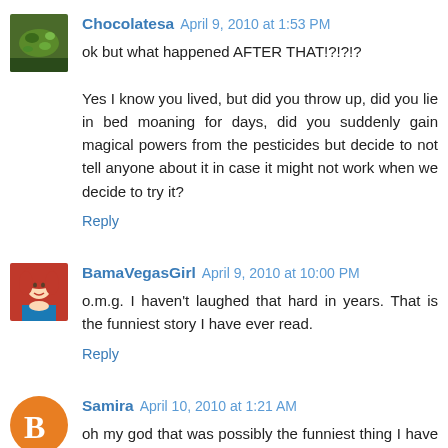Chocolatesa April 9, 2010 at 1:53 PM
ok but what happened AFTER THAT!?!?!?

Yes I know you lived, but did you throw up, did you lie in bed moaning for days, did you suddenly gain magical powers from the pesticides but decide to not tell anyone about it in case it might not work when we decide to try it?
Reply
BamaVegasGirl April 9, 2010 at 10:00 PM
o.m.g. I haven't laughed that hard in years. That is the funniest story I have ever read.
Reply
Samira April 10, 2010 at 1:21 AM
oh my god that was possibly the funniest thing I have ever read. EVER!!!